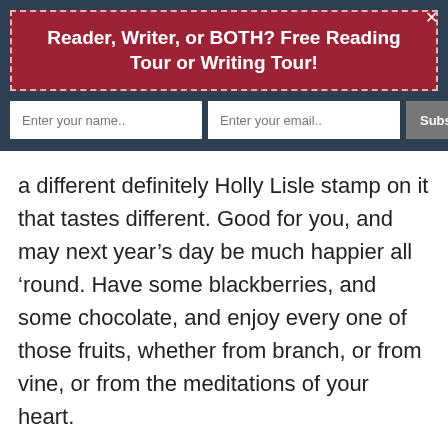Reader, Writer, or BOTH? Free Reading Tour or Writing Tour!
[Figure (infographic): Email subscription form with name and email input fields and a Subscribe Now button on dark blue background]
a different definitely Holly Lisle stamp on it that tastes different. Good for you, and may next year’s day be much happier all ‘round. Have some blackberries, and some chocolate, and enjoy every one of those fruits, whether from branch, or from vine, or from the meditations of your heart.
reply   link
[Figure (other): Ko-fi Support me button in orange]
Leave a Reply